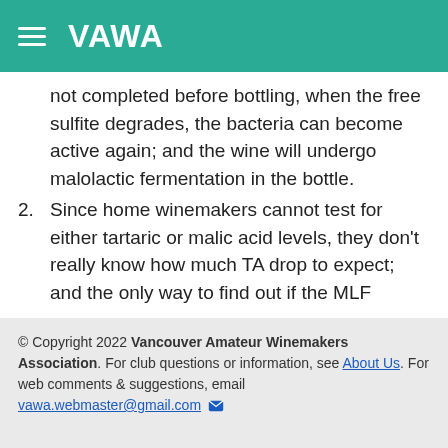VAWA
not completed before bottling, when the free sulfite degrades, the bacteria can become active again; and the wine will undergo malolactic fermentation in the bottle.
2. Since home winemakers cannot test for either tartaric or malic acid levels, they don't really know how much TA drop to expect; and the only way to find out if the MLF
© Copyright 2022 Vancouver Amateur Winemakers Association. For club questions or information, see About Us. For web comments & suggestions, email vawa.webmaster@gmail.com